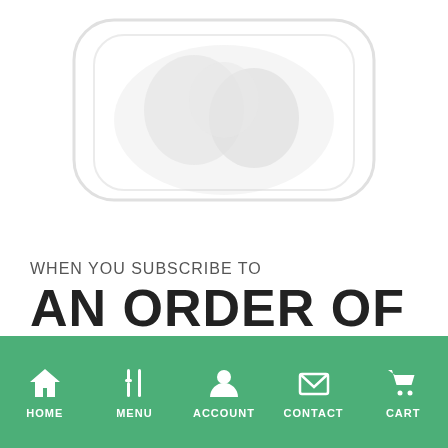[Figure (illustration): Faded/ghosted illustration of a food container or bowl with food, rounded rectangle shape, very light gray tones on white background]
WHEN YOU SUBSCRIBE TO
AN ORDER OF $150
HOME   MENU   ACCOUNT   CONTACT   CART